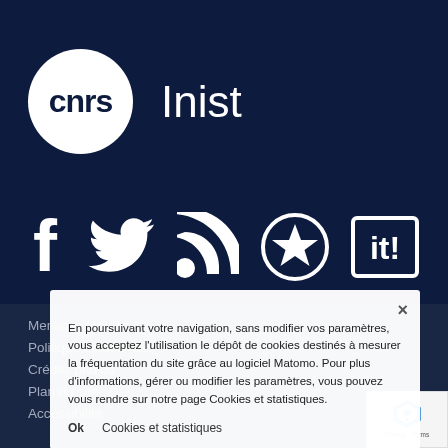[Figure (logo): CNRS Inist logo — white circle with 'cnrs' text in dark navy, followed by 'Inist' in white on dark navy background]
[Figure (infographic): Row of white social media icons on dark navy background: Facebook (f), Twitter (bird), RSS feed, Digg (star in circle), it! (square with text)]
Mentions légales
Politique de données
Crédits photos
Plan du site
Accessibilité
En poursuivant votre navigation, sans modifier vos paramètres, vous acceptez l'utilisation le dépôt de cookies destinés à mesurer la fréquentation du site grâce au logiciel Matomo. Pour plus d'informations, gérer ou modifier les paramètres, vous pouvez vous rendre sur notre page Cookies et statistiques.
Ok   Cookies et statistiques